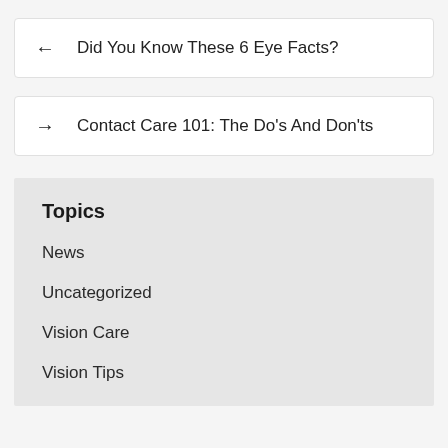← Did You Know These 6 Eye Facts?
→ Contact Care 101: The Do's And Don'ts
Topics
News
Uncategorized
Vision Care
Vision Tips